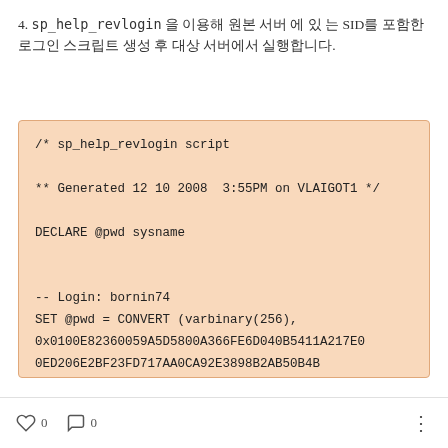4. sp_help_revlogin 을 이용해 원본 서버 에 있 는 SID를 포함한 로그인 스크립트 생성 후 대상 서버에서 실행합니다.
/* sp_help_revlogin script

** Generated 12 10 2008  3:55PM on VLAIGOT1 */

DECLARE @pwd sysname


-- Login: bornin74
SET @pwd = CONVERT (varbinary(256),
0x0100E82360059A5D5800A366FE6D040B5411A217E0
0ED206E2BF23FD717AA0CA92E3898B2AB50B4B
0   0